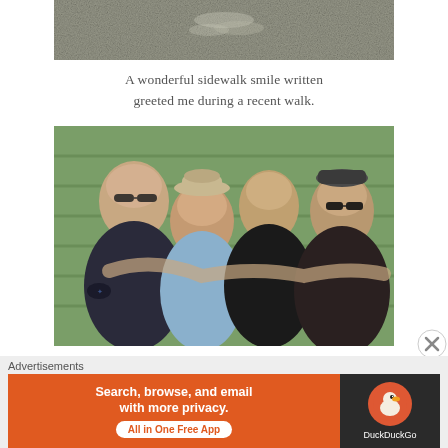[Figure (photo): Partial/cropped photo of a textured gray surface (sidewalk or concrete) with faint markings visible, cut off at the top of the page.]
A wonderful sidewalk smile written greeted me during a recent walk.
[Figure (photo): Group photo of four men hugging and smiling, standing in front of a green house siding. One man wears a cowboy hat and light blue shirt; the others wear dark shirts. One has sunglasses and a tattoo on his arm, another wears a Nike cap and sunglasses.]
My Dad and brothers enjoying precious
Advertisements
[Figure (infographic): DuckDuckGo advertisement banner. Orange background on left with text: 'Search, browse, and email with more privacy.' and 'All in One Free App' button. Dark background on right with DuckDuckGo duck logo and brand name.]